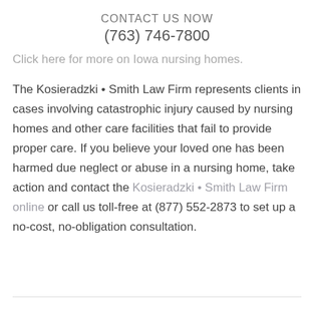CONTACT US NOW
(763) 746-7800
Click here for more on Iowa nursing homes.
The Kosieradzki • Smith Law Firm represents clients in cases involving catastrophic injury caused by nursing homes and other care facilities that fail to provide proper care. If you believe your loved one has been harmed due neglect or abuse in a nursing home, take action and contact the Kosieradzki • Smith Law Firm online or call us toll-free at (877) 552-2873 to set up a no-cost, no-obligation consultation.